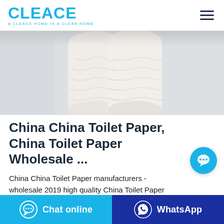CLEACE — A CLEACE HOME IS A CLEAN HOME
[Figure (photo): Two white embossed toilet paper rolls standing upright side by side on a light gray background]
China China Toilet Paper, China Toilet Paper Wholesale ...
China China Toilet Paper manufacturers - wholesale 2019 high quality China Toilet Paper products in best price from certified Chinese
[Figure (other): Floating cyan chat bubble button with ellipsis icon]
Chat online   WhatsApp